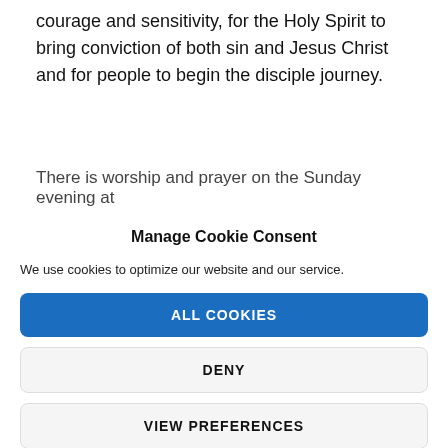courage and sensitivity, for the Holy Spirit to bring conviction of both sin and Jesus Christ and for people to begin the disciple journey.
There is worship and prayer on the Sunday evening at
Manage Cookie Consent
We use cookies to optimize our website and our service.
ALL COOKIES
DENY
VIEW PREFERENCES